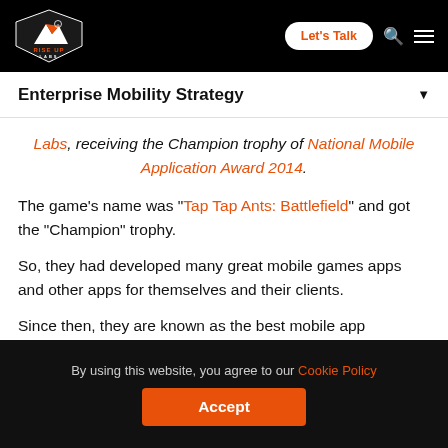[Figure (logo): Rise Up Labs logo — white mountain/shield shape on black background with text RISE UP LABS]
Let's Talk | search icon | menu icon
Enterprise Mobility Strategy
Labs, receiving the Champion trophy of National Mobile Application Award 2014.
The game's name was "Tap Tap Ants: Battlefield" and got the "Champion" trophy.
So, they had developed many great mobile games apps and other apps for themselves and their clients.
Since then, they are known as the best mobile app
By using this website, you agree to our Cookie Policy  [Accept]